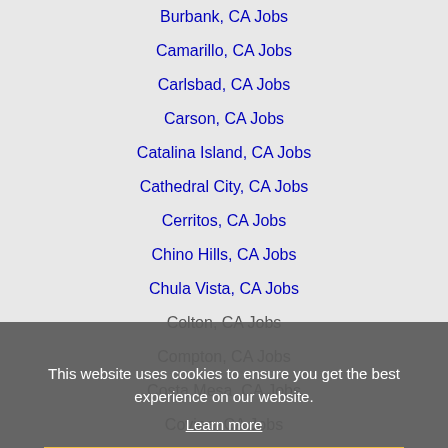Burbank, CA Jobs
Camarillo, CA Jobs
Carlsbad, CA Jobs
Carson, CA Jobs
Catalina Island, CA Jobs
Cathedral City, CA Jobs
Cerritos, CA Jobs
Chino Hills, CA Jobs
Chula Vista, CA Jobs
Colton, CA Jobs
Compton, CA Jobs
Costa Mesa, CA Jobs
Covina, CA Jobs
Cypress, CA Jobs
Diamond Bar, CA Jobs
Downey, CA Jobs
East Los Angeles, CA Jobs
El Monte, CA Jobs
This website uses cookies to ensure you get the best experience on our website. Learn more Got it!